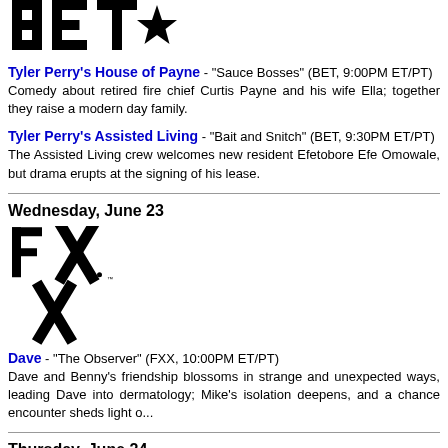[Figure (logo): BET logo in black with star]
Tyler Perry's House of Payne - "Sauce Bosses" (BET, 9:00PM ET/PT) Comedy about retired fire chief Curtis Payne and his wife Ella; together they raise a modern day family.
Tyler Perry's Assisted Living - "Bait and Snitch" (BET, 9:30PM ET/PT) The Assisted Living crew welcomes new resident Efetobore Efe Omowale, but drama erupts at the signing of his lease.
Wednesday, June 23
[Figure (logo): FXX logo in black]
Dave - "The Observer" (FXX, 10:00PM ET/PT) Dave and Benny's friendship blossoms in strange and unexpected ways, leading Dave into dermatology; Mike's isolation deepens, and a chance encounter sheds light on...
Thursday, June 24
[Figure (logo): Logo partially visible at bottom]